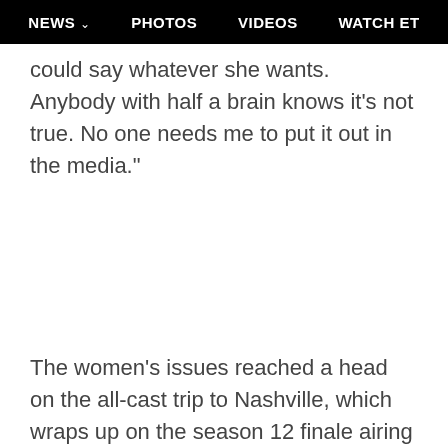NEWS  PHOTOS  VIDEOS  WATCH ET
could say whatever she wants. Anybody with half a brain knows it's not true. No one needs me to put it out in the media."
The women's issues reached a head on the all-cast trip to Nashville, which wraps up on the season 12 finale airing